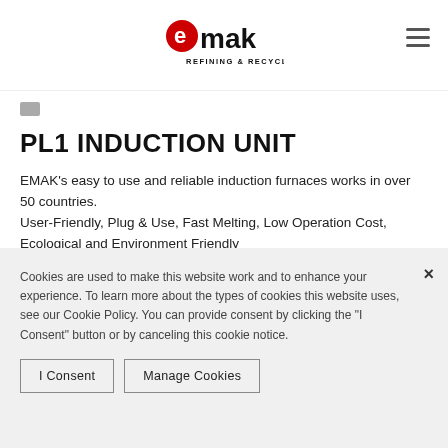[Figure (logo): EMAK Refining & Recycling logo — 'e' in red, rest in black, with tagline REFINING & RECYCLING below]
PL1 INDUCTION UNIT
EMAK's easy to use and reliable induction furnaces works in over 50 countries.
User-Friendly, Plug & Use, Fast Melting, Low Operation Cost, Ecological and Environment Friendly
Cookies are used to make this website work and to enhance your experience. To learn more about the types of cookies this website uses, see our Cookie Policy. You can provide consent by clicking the "I Consent" button or by canceling this cookie notice.
I Consent    Manage Cookies